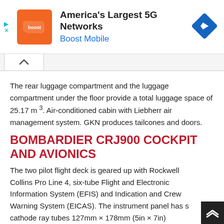[Figure (other): Advertisement banner for Boost Mobile – America's Largest 5G Networks, with orange Boost logo and blue navigation diamond icon]
The rear luggage compartment and the luggage compartment under the floor provide a total luggage space of 25.17 m ³. Air-conditioned cabin with Liebherr air management system. GKN produces tailcones and doors.
BOMBARDIER CRJ900 COCKPIT AND AVIONICS
The two pilot flight deck is geared up with Rockwell Collins Pro Line 4, six-tube Flight and Electronic Information System (EFIS) and Indication and Crew Warning System (EICAS). The instrument panel has s cathode ray tubes 127mm × 178mm (5in × 7in)